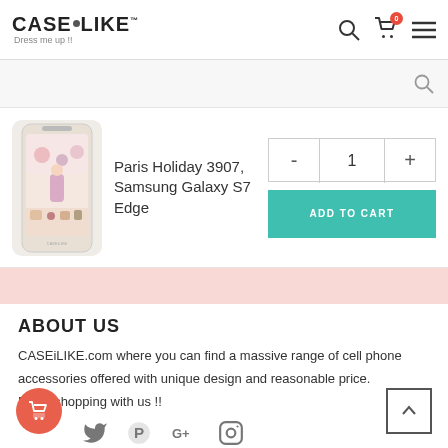CASEiLIKE - Dress me up !!
[Figure (screenshot): Product image of Paris Holiday 3907 Samsung Galaxy S7 Edge phone case with illustrated Paris artwork]
Paris Holiday 3907, Samsung Galaxy S7 Edge
- 1 + ADD TO CART
ABOUT US
CASEiLIKE.com where you can find a massive range of cell phone accessories offered with unique design and reasonable price. Enjoy shopping with us !!